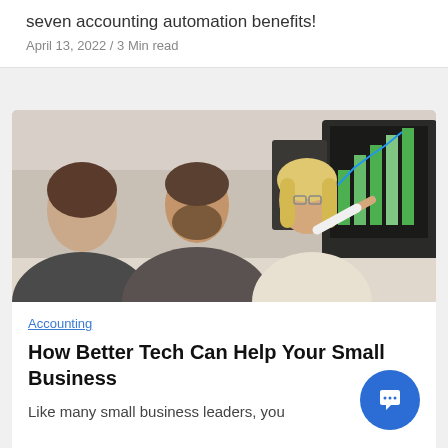seven accounting automation benefits!
April 13, 2022 / 3 Min read
[Figure (photo): Three office workers (two women and a man) sitting at a desk looking at computer monitors. A woman with glasses is pointing at a screen displaying a bar chart with an upward trend line.]
Accounting
How Better Tech Can Help Your Small Business
Like many small business leaders, you